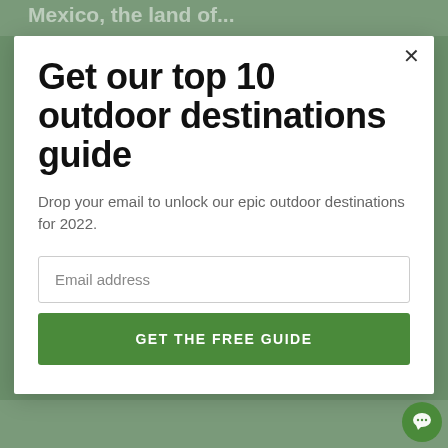[Figure (screenshot): Background image of outdoor/nature scene, partially visible behind modal, with text 'Mexico, the land of' partially visible at top]
Get our top 10 outdoor destinations guide
Drop your email to unlock our epic outdoor destinations for 2022.
Email address
GET THE FREE GUIDE